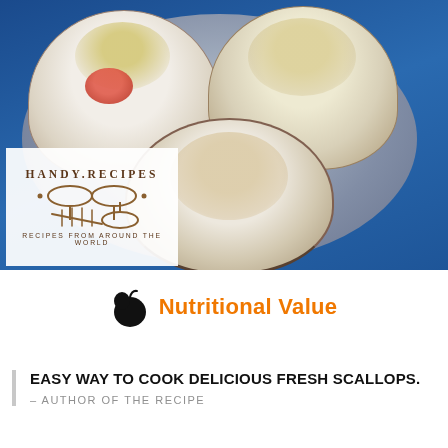[Figure (photo): Three baked scallops in their shells on a gray plate with a blue background. The scallops are topped with melted cheese and seasonings. A Handy Recipes logo overlay appears in the lower left corner of the photo.]
Nutritional Value
EASY WAY TO COOK DELICIOUS FRESH SCALLOPS.
– AUTHOR OF THE RECIPE